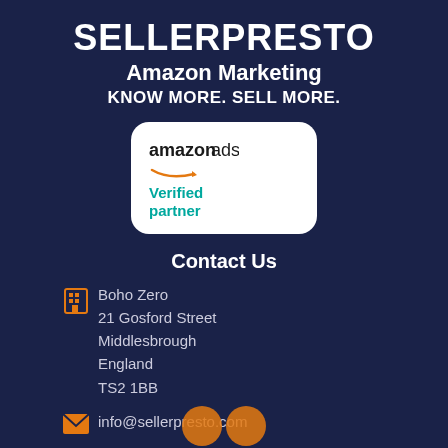SELLERPRESTO
Amazon Marketing
KNOW MORE. SELL MORE.
[Figure (logo): Amazon Ads Verified Partner badge — white rounded rectangle with 'amazon ads' logo and orange smile arrow, 'Verified partner' in teal text below]
Contact Us
Boho Zero
21 Gosford Street
Middlesbrough
England
TS2 1BB
info@sellerpresto.com
[Figure (illustration): Two orange social media / contact icons at the bottom of the page]